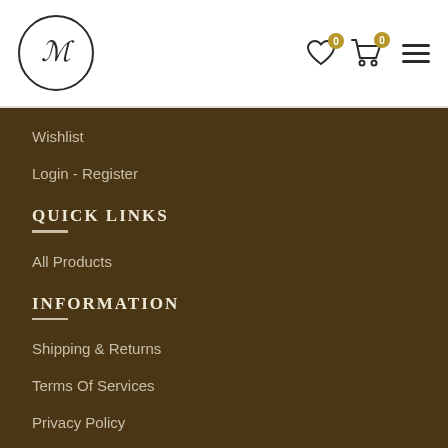[Figure (logo): Circular logo with stylized M letter inside, black border]
Wishlist
Login - Register
QUICK LINKS
All Products
INFORMATION
Shipping & Returns
Terms Of Services
Privacy Policy
OTHER LINKS